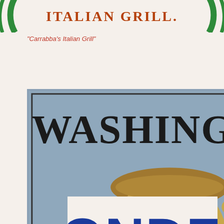[Figure (logo): Carrabba's Italian Grill logo — partial, showing 'ITALIAN GRILL.' text in brown/orange serif font, with partial green circular design on either side]
"Carrabba's Italian Grill"
[Figure (logo): Washington Perk and Provision Co. logo — square image with slate blue background, black serif text reading WASHINGTON at top, large gold/brass coffee mug in center with 'WP' monogram, PERK in large serif below, 'AND' with horizontal rules, 'PROVISION CO.' at bottom]
"Washington Perk
[Figure (logo): Partial logo showing letters 'ONDE' in large bold blue text with circular stripe design in red/green/white at bottom, partially cropped]